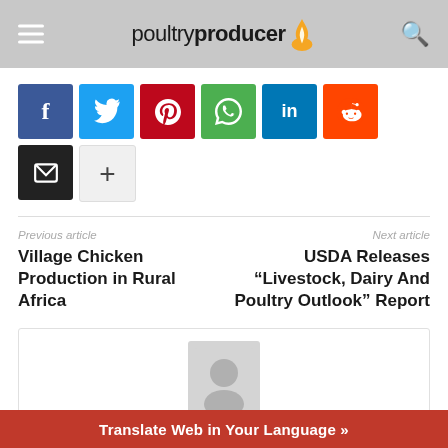poultryproducer
[Figure (infographic): Social sharing buttons row: Facebook, Twitter, Pinterest, WhatsApp, LinkedIn, Reddit, Email, More (+)]
Previous article
Village Chicken Production in Rural Africa
Next article
USDA Releases “Livestock, Dairy And Poultry Outlook” Report
[Figure (photo): Profile/author card with avatar placeholder image]
Translate Web in Your Language »